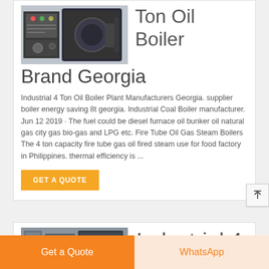[Figure (photo): Industrial boiler equipment with control panel]
Ton Oil Boiler Brand Georgia
Industrial 4 Ton Oil Boiler Plant Manufacturers Georgia. supplier boiler energy saving 8t georgia. Industrial Coal Boiler manufacturer. Jun 12 2019 · The fuel could be diesel furnace oil bunker oil natural gas city gas bio-gas and LPG etc. Fire Tube Oil Gas Steam Boilers The 4 ton capacity fire tube gas oil fired steam use for food factory in Philippines. thermal efficiency is ...
GET A QUOTE
[Figure (photo): Industrial large boiler unit]
Industrial 4
Get a Quote
WhatsApp